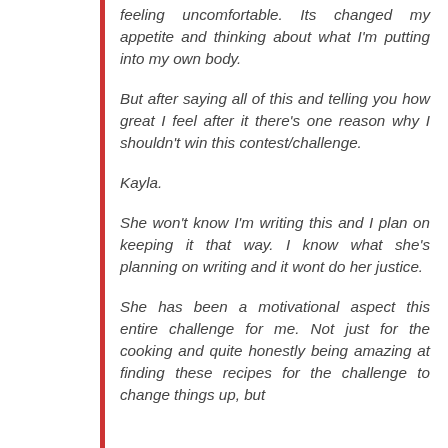feeling uncomfortable. Its changed my appetite and thinking about what I'm putting into my own body.
But after saying all of this and telling you how great I feel after it there's one reason why I shouldn't win this contest/challenge.
Kayla.
She won't know I'm writing this and I plan on keeping it that way. I know what she's planning on writing and it wont do her justice.
She has been a motivational aspect this entire challenge for me. Not just for the cooking and quite honestly being amazing at finding these recipes for the challenge to change things up, but